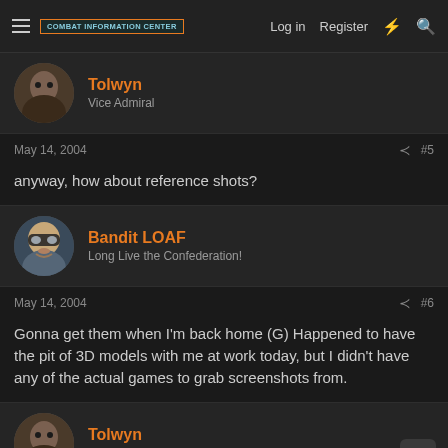Combat Information Center — Log in | Register
Tolwyn
Vice Admiral
May 14, 2004  #5
anyway, how about reference shots?
Bandit LOAF
Long Live the Confederation!
May 14, 2004  #6
Gonna get them when I'm back home (G) Happened to have the pit of 3D models with me at work today, but I didn't have any of the actual games to grab screenshots from.
Tolwyn
Vice Admiral